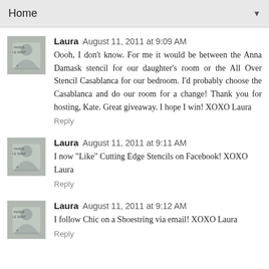Home
Laura August 11, 2011 at 9:09 AM
Oooh, I don't know. For me it would be between the Anna Damask stencil for our daughter's room or the All Over Stencil Casablanca for our bedroom. I'd probably choose the Casablanca and do our room for a change! Thank you for hosting, Kate. Great giveaway. I hope I win! XOXO Laura
Reply
Laura August 11, 2011 at 9:11 AM
I now "Like" Cutting Edge Stencils on Facebook! XOXO Laura
Reply
Laura August 11, 2011 at 9:12 AM
I follow Chic on a Shoestring via email! XOXO Laura
Reply